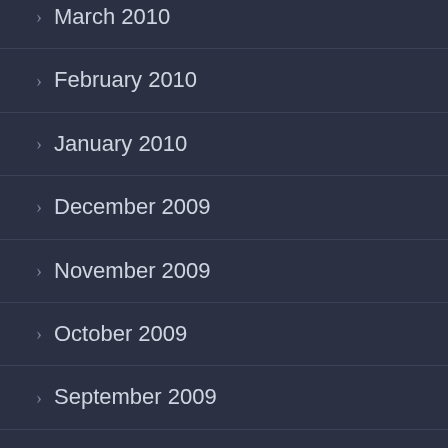March 2010
February 2010
January 2010
December 2009
November 2009
October 2009
September 2009
August 2009
July 2009
June 2009